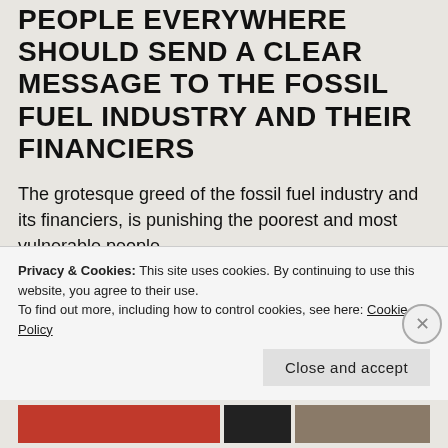PEOPLE EVERYWHERE SHOULD SEND A CLEAR MESSAGE TO THE FOSSIL FUEL INDUSTRY AND THEIR FINANCIERS
The grotesque greed of the fossil fuel industry and its financiers, is punishing the poorest and most vulnerable people.
WHAT MATTER MOST IN LIFE
QUOTE OF THE DAY “Life is beautiful, and I’ve always lived it to the full. I love art, music, good food and the finest wine. All of
Privacy & Cookies: This site uses cookies. By continuing to use this website, you agree to their use. To find out more, including how to control cookies, see here: Cookie Policy
Close and accept